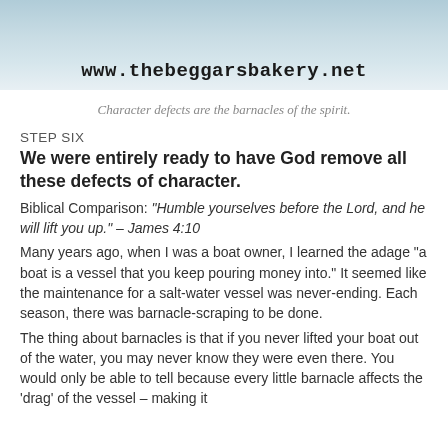[Figure (photo): Header photo with a light blue/grey background and website URL www.thebeggarsbakery.net]
Character defects are the barnacles of the spirit.
STEP SIX
We were entirely ready to have God remove all these defects of character.
Biblical Comparison: “Humble yourselves before the Lord, and he will lift you up.” – James 4:10
Many years ago, when I was a boat owner, I learned the adage “a boat is a vessel that you keep pouring money into.” It seemed like the maintenance for a salt-water vessel was never-ending. Each season, there was barnacle-scraping to be done.
The thing about barnacles is that if you never lifted your boat out of the water, you may never know they were even there. You would only be able to tell because every little barnacle affects the ‘drag’ of the vessel – making it